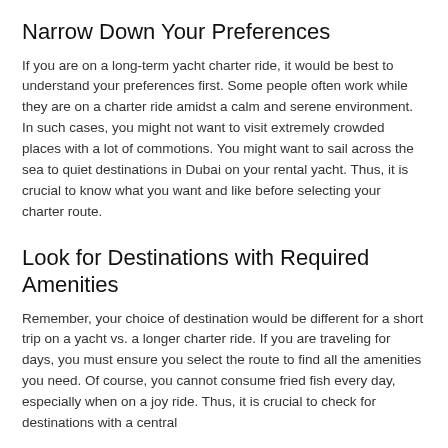Narrow Down Your Preferences
If you are on a long-term yacht charter ride, it would be best to understand your preferences first. Some people often work while they are on a charter ride amidst a calm and serene environment. In such cases, you might not want to visit extremely crowded places with a lot of commotions. You might want to sail across the sea to quiet destinations in Dubai on your rental yacht. Thus, it is crucial to know what you want and like before selecting your charter route.
Look for Destinations with Required Amenities
Remember, your choice of destination would be different for a short trip on a yacht vs. a longer charter ride. If you are traveling for days, you must ensure you select the route to find all the amenities you need. Of course, you cannot consume fried fish every day, especially when on a joy ride. Thus, it is crucial to check for destinations with a central